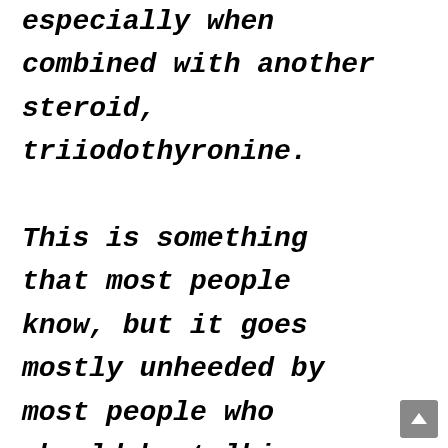especially when combined with another steroid, triiodothyronine. This is something that most people know, but it goes mostly unheeded by most people who should be talking about androsterone. The idea of